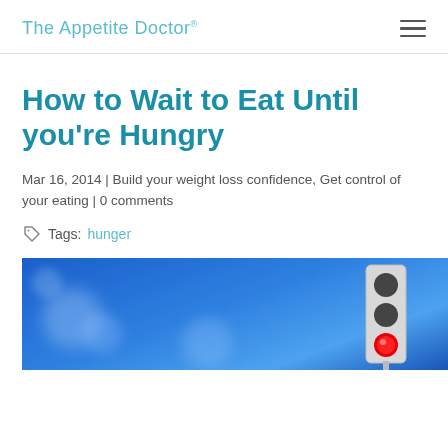The Appetite Doctor®
How to Wait to Eat Until you're Hungry
Mar 16, 2014 | Build your weight loss confidence, Get control of your eating | 0 comments
Tags: hunger
[Figure (photo): Photo of a red traffic light against a blue blurred background]